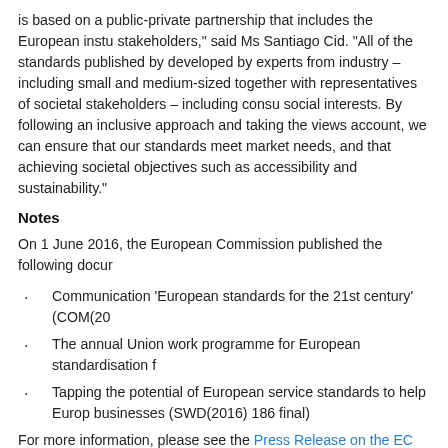is based on a public-private partnership that includes the European instu stakeholders," said Ms Santiago Cid. "All of the standards published by developed by experts from industry – including small and medium-sized together with representatives of societal stakeholders – including consu social interests. By following an inclusive approach and taking the views account, we can ensure that our standards meet market needs, and that achieving societal objectives such as accessibility and sustainability."
Notes
On 1 June 2016, the European Commission published the following docur
Communication 'European standards for the 21st century' (COM(20
The annual Union work programme for European standardisation f
Tapping the potential of European service standards to help Europ businesses (SWD(2016) 186 final)
For more information, please see the Press Release on the EC website.
The Joint Initiative on Standardisation (JIS) to be launched on 13 June in A the European Single Market organized by the Dutch Government (Minist framework of The Netherlands EU Presidency.